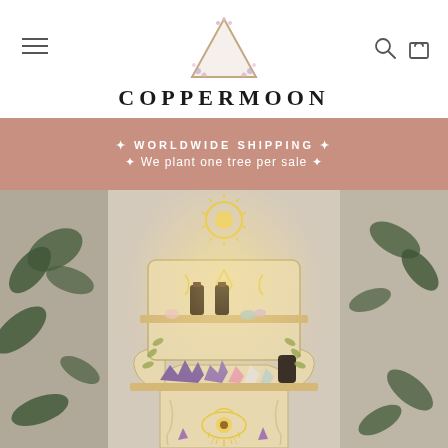[Figure (logo): Coppermoon logo: a triangle with floral/crystal decoration and a crescent moon, above the text COPPERMOON in bold serif letters. Hamburger menu icon on the left, search and bag icons on the right.]
✦ WORLDWIDE SHIPPING ✦
✦ We plant one tree per sale ✦
[Figure (photo): A wooden Hamsa hand-shaped illuminated shelf with moon phase cutouts, a sun, an eye symbol at the bottom, and leaf motifs. The shelf holds crystal specimens, essential oil bottles, and small objects. Warm golden LED backlighting glows through the cutouts. Surrounded by green plants on either side.]